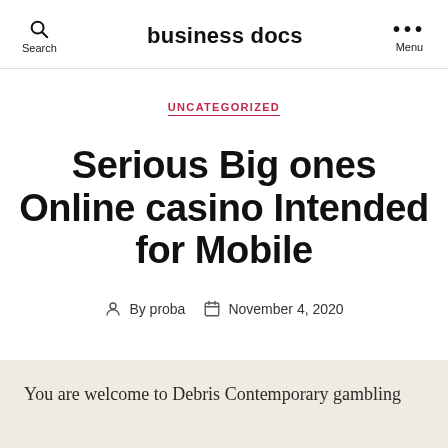business docs
UNCATEGORIZED
Serious Big ones Online casino Intended for Mobile
By proba   November 4, 2020
You are welcome to Debris Contemporary gambling